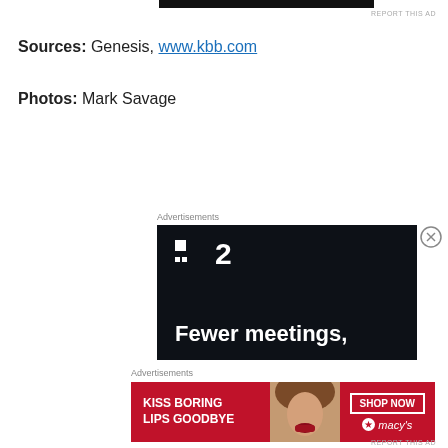REPORT THIS AD
Sources: Genesis, www.kbb.com
Photos: Mark Savage
Advertisements
[Figure (other): Dark advertisement for a software/productivity tool showing a logo with two dots and '2' and text 'Fewer meetings,']
[Figure (other): Close button (X in circle)]
Advertisements
[Figure (other): Macy's advertisement with red background showing 'KISS BORING LIPS GOODBYE' text with a woman's photo and 'SHOP NOW' button with Macy's logo]
REPORT THIS AD